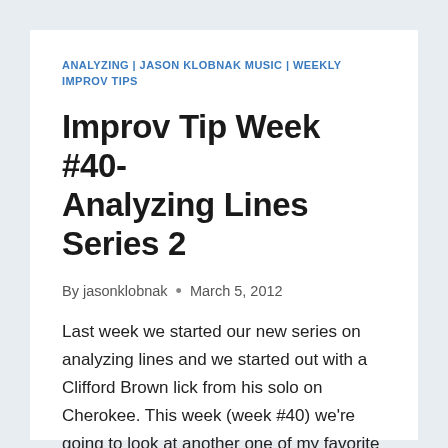ANALYZING | JASON KLOBNAK MUSIC | WEEKLY IMPROV TIPS
Improv Tip Week #40-Analyzing Lines Series 2
By jasonklobnak • March 5, 2012
Last week we started our new series on analyzing lines and we started out with a Clifford Brown lick from his solo on Cherokee. This week (week #40) we're going to look at another one of my favorite Clifford Brown lines from his famous solo on the Blues standard, Sandu. I mentioned this last week....